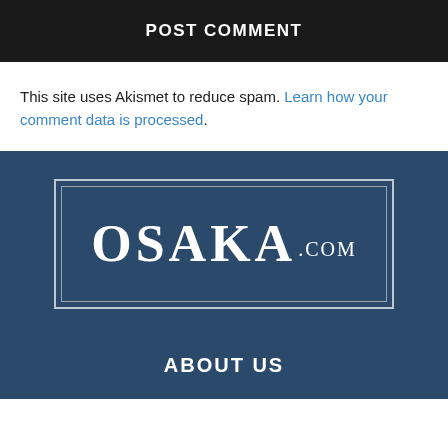POST COMMENT
This site uses Akismet to reduce spam. Learn how your comment data is processed.
[Figure (logo): OSAKA.COM logo in white text on dark blue background, inside a double-bordered rectangle]
ABOUT US